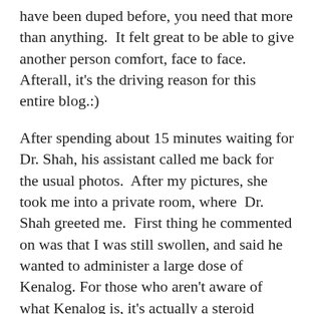have been duped before, you need that more than anything.  It felt great to be able to give another person comfort, face to face.  Afterall, it's the driving reason for this entire blog.:)
After spending about 15 minutes waiting for Dr. Shah, his assistant called me back for the usual photos.  After my pictures, she took me into a private room, where  Dr. Shah greeted me.  First thing he commented on was that I was still swollen, and said he wanted to administer a large dose of Kenalog. For those who aren't aware of what Kenalog is, it's actually a steroid injection.  Now, don't let it scare you that  here is still swelling 4 months out.  It's completely